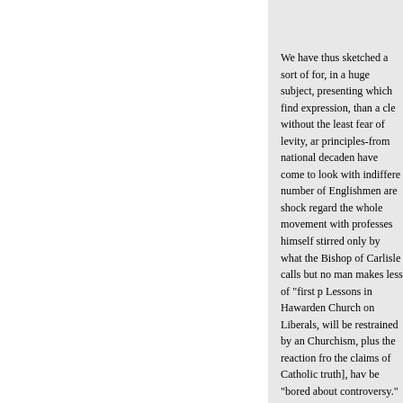We have thus sketched a sort of for, in a huge subject, presenting which find expression, than a cle without the least fear of levity, ar principles-from national decaden have come to look with indiffere number of Englishmen are shock regard the whole movement with professes himself stirred only by what the Bishop of Carlisle calls but no man makes less of "first p Lessons in Hawarden Church on Liberals, will be restrained by an Churchism, plus the reaction fro the claims of Catholic truth], hav be "bored about controversy." A spirit? Places of worship are, as a almost everywhere the prominen Wesleyans, Baptists, Presbyteriar
« Previous